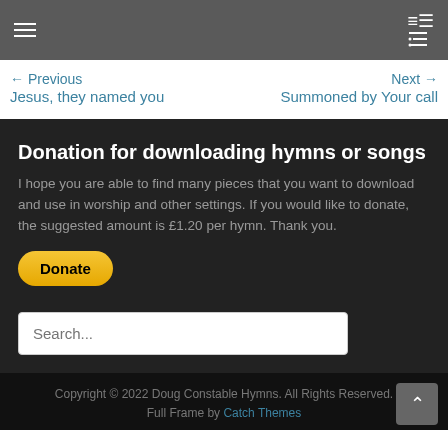← Previous Jesus, they named you | Next → Summoned by Your call
Donation for downloading hymns or songs
I hope you are able to find many pieces that you want to download and use in worship and other settings. If you would like to donate, the suggested amount is £1.20 per hymn. Thank you.
[Figure (other): Yellow PayPal Donate button]
[Figure (other): Search input box with placeholder text 'Search...']
Copyright © 2022 Doug Constable Hymns. All Rights Reserved. Full Frame by Catch Themes